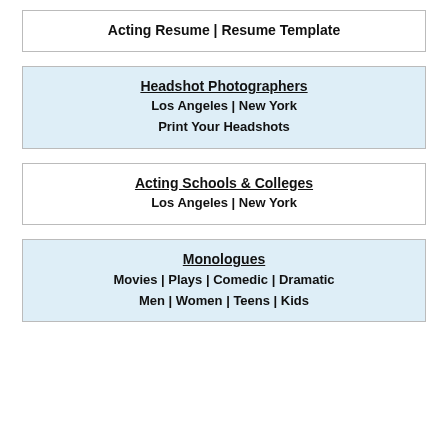Acting Resume | Resume Template
Headshot Photographers
Los Angeles | New York
Print Your Headshots
Acting Schools & Colleges
Los Angeles | New York
Monologues
Movies | Plays | Comedic | Dramatic
Men | Women | Teens | Kids